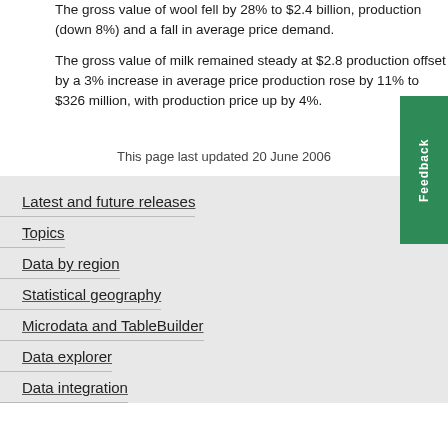The gross value of wool fell by 28% to $2.4 billion, production (down 8%) and a fall in average price demand.
The gross value of milk remained steady at $2.8 production offset by a 3% increase in average price production rose by 11% to $326 million, with production price up by 4%.
This page last updated 20 June 2006
Latest and future releases
Topics
Data by region
Statistical geography
Microdata and TableBuilder
Data explorer
Data integration